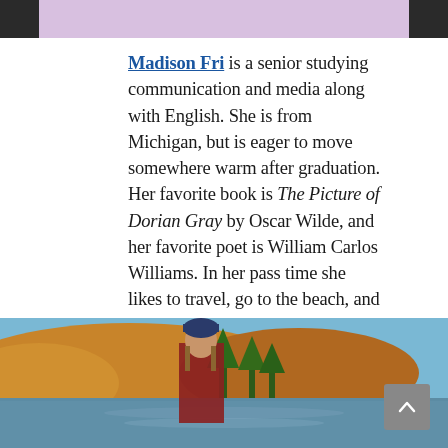[Figure (photo): Top portion of a photo showing a person in a light purple/lavender top, partially cropped]
Madison Fri is a senior studying communication and media along with English. She is from Michigan, but is eager to move somewhere warm after graduation. Her favorite book is The Picture of Dorian Gray by Oscar Wilde, and her favorite poet is William Carlos Williams. In her pass time she likes to travel, go to the beach, and try new foods. Madison is excited for this semester and to write about all that the English department has to offer!
[Figure (photo): Photo of a young woman wearing a blue knit beanie and red jacket, standing outdoors near a lake with autumn foliage and trees in the background]